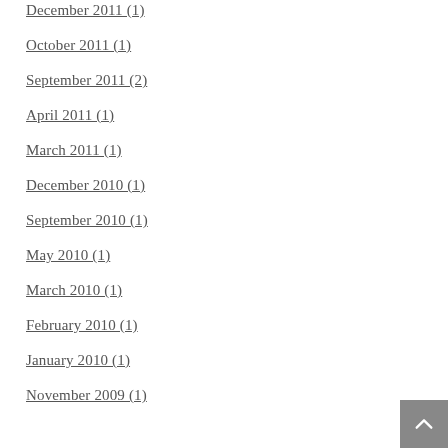December 2011 (1)
October 2011 (1)
September 2011 (2)
April 2011 (1)
March 2011 (1)
December 2010 (1)
September 2010 (1)
May 2010 (1)
March 2010 (1)
February 2010 (1)
January 2010 (1)
November 2009 (1)